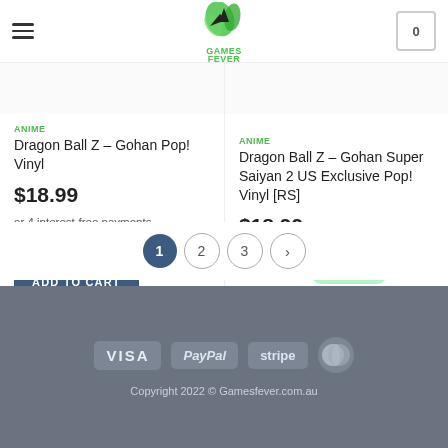Games Fever - Header with hamburger menu, logo, and cart (0)
ANIME
Dragon Ball Z – Gohan Pop! Vinyl
$18.99
or 4 interest-free payments
of $4.75 with afterpay
Dragon Ball Z – Gohan Super Saiyan 2 US Exclusive Pop! Vinyl [RS]
$18.99
or 4 interest-free payments
of $4.75 with afterpay
ADD TO CART
READ MORE
Pagination: 1 2 3 >
VISA  PayPal  stripe  MasterCard
Copyright 2022 © Gamesfever.com.au